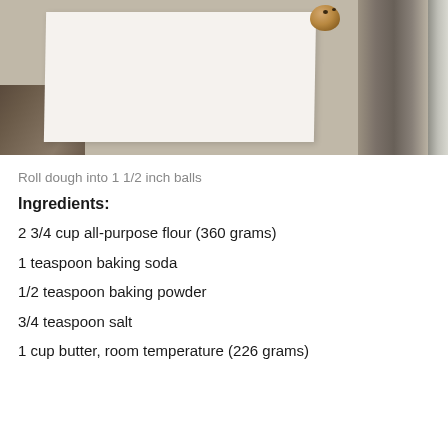[Figure (photo): A ball of cookie dough on parchment paper on a baking sheet, with a granite counter surface visible in the background.]
Roll dough into 1 1/2 inch balls
Ingredients:
2 3/4 cup all-purpose flour (360 grams)
1 teaspoon baking soda
1/2 teaspoon baking powder
3/4 teaspoon salt
1 cup butter, room temperature (226 grams)